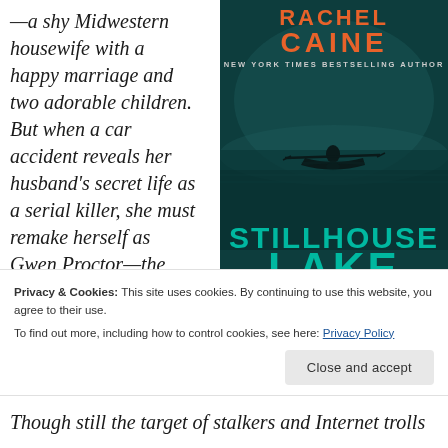—a shy Midwestern housewife with a happy marriage and two adorable children. But when a car accident reveals her husband's secret life as a serial killer, she must remake herself as Gwen Proctor—the
[Figure (illustration): Book cover of 'Stillhouse Lake' by Rachel Caine, New York Times Bestselling Author. Dark teal/green cover showing a silhouette of a person rowing a boat on still water. Author name 'RACHEL CAINE' in orange letters at top, subtitle 'NEW YORK TIMES BESTSELLING AUTHOR' in small white text, and 'STILLHOUSE LAKE' in large teal letters at bottom.]
Privacy & Cookies: This site uses cookies. By continuing to use this website, you agree to their use.
To find out more, including how to control cookies, see here: Privacy Policy
Close and accept
Though still the target of stalkers and Internet trolls